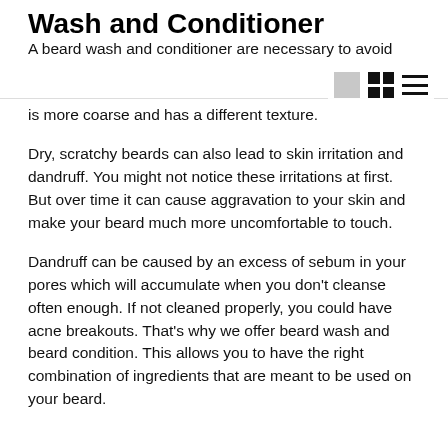Wash and Conditioner
A beard wash and conditioner are necessary to avoid
is more coarse and has a different texture.
Dry, scratchy beards can also lead to skin irritation and dandruff. You might not notice these irritations at first. But over time it can cause aggravation to your skin and make your beard much more uncomfortable to touch.
Dandruff can be caused by an excess of sebum in your pores which will accumulate when you don't cleanse often enough. If not cleaned properly, you could have acne breakouts. That's why we offer beard wash and beard condition. This allows you to have the right combination of ingredients that are meant to be used on your beard.